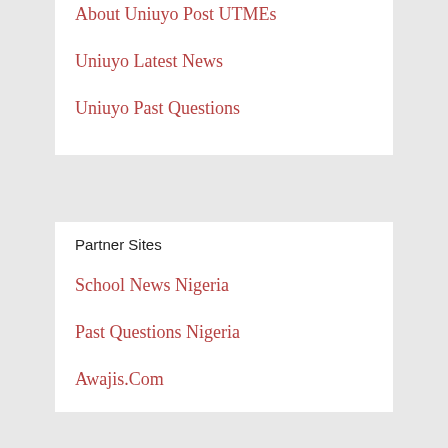About Uniuyo Post UTMEs
Uniuyo Latest News
Uniuyo Past Questions
Partner Sites
School News Nigeria
Past Questions Nigeria
Awajis.Com